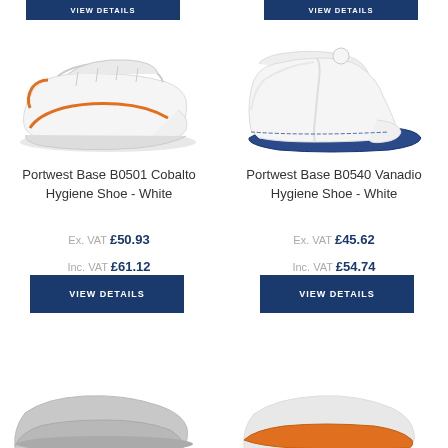[Figure (photo): Top VIEW DETAILS button for left product (partially cut off at top)]
[Figure (photo): Top VIEW DETAILS button for right product (partially cut off at top)]
[Figure (photo): Portwest Base B0501 Cobalto Hygiene Shoe - White, white safety shoe with orange accent]
[Figure (photo): Portwest Base B0540 Vanadio Hygiene Shoe - White, white high-top hygiene boot with navy sole]
Portwest Base B0501 Cobalto Hygiene Shoe - White
Ex. VAT £50.93 Inc. VAT £61.12
VIEW DETAILS
Portwest Base B0540 Vanadio Hygiene Shoe - White
Ex. VAT £45.62 Inc. VAT £54.74
VIEW DETAILS
[Figure (photo): Bottom left shoe partially visible (grey shoe)]
[Figure (photo): Bottom right shoe partially visible (shoe with orange sole)]